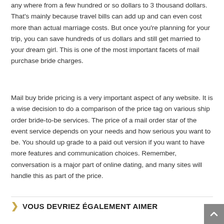any where from a few hundred or so dollars to 3 thousand dollars. That's mainly because travel bills can add up and can even cost more than actual marriage costs. But once you're planning for your trip, you can save hundreds of us dollars and still get married to your dream girl. This is one of the most important facets of mail purchase bride charges.
Mail buy bride pricing is a very important aspect of any website. It is a wise decision to do a comparison of the price tag on various ship order bride-to-be services. The price of a mail order star of the event service depends on your needs and how serious you want to be. You should up grade to a paid out version if you want to have more features and communication choices. Remember, conversation is a major part of online dating, and many sites will handle this as part of the price.
VOUS DEVRIEZ ÉGALEMENT AIMER